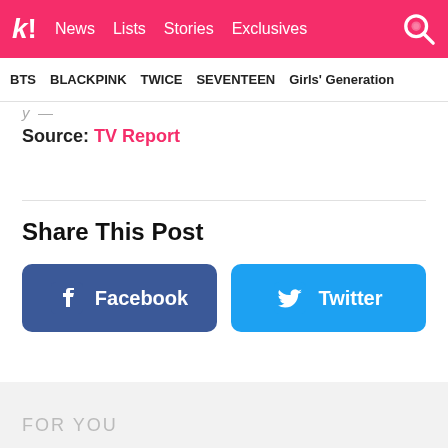k! News  Lists  Stories  Exclusives
BTS  BLACKPINK  TWICE  SEVENTEEN  Girls' Generation
Source: TV Report
Share This Post
Facebook
Twitter
FOR YOU